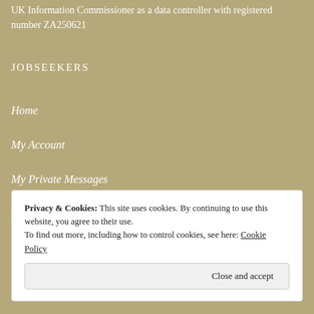UK Information Commissioner as a data controller with registered number ZA250621
JOBSEEKERS
Home
My Account
My Private Messages
Add a Jobseekers Profile
Search Equine Jobs
Privacy & Cookies: This site uses cookies. By continuing to use this website, you agree to their use. To find out more, including how to control cookies, see here: Cookie Policy
Close and accept